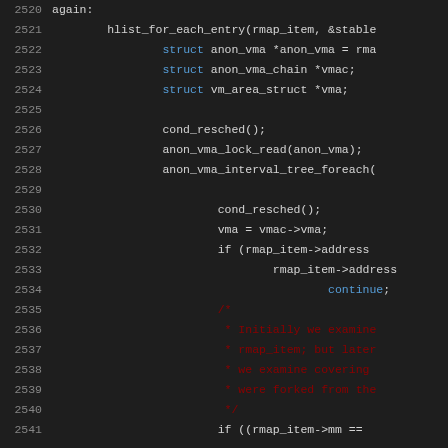[Figure (screenshot): Source code listing lines 2520-2541 of a C kernel file showing rmap/anon_vma traversal code with syntax highlighting on dark background]